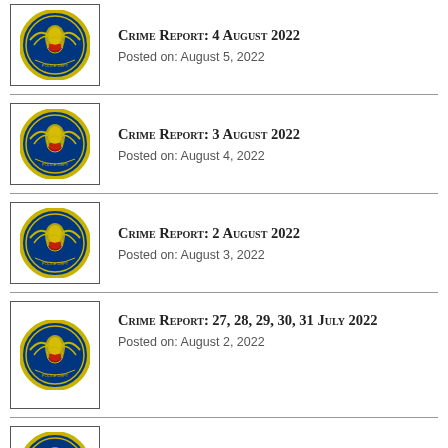Crime Report: 4 August 2022
Posted on: August 5, 2022
Crime Report: 3 August 2022
Posted on: August 4, 2022
Crime Report: 2 August 2022
Posted on: August 3, 2022
Crime Report: 27, 28, 29, 30, 31 July 2022
Posted on: August 2, 2022
Crime Report: 1 August 2022
Posted on: August 2, 2022
Crime Report: 26 July 2022
Posted on: July 27, 2022